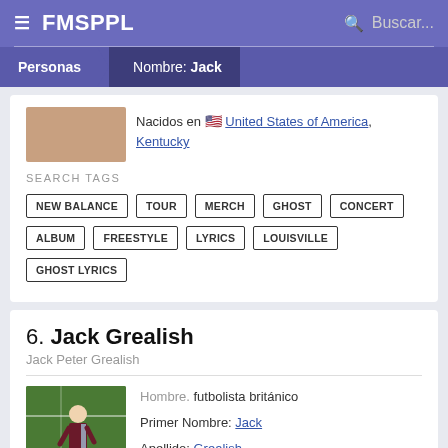FMSPPL  Buscar...
Personas  Nombre: Jack
Nacidos en 🇺🇸 United States of America, Kentucky
SEARCH TAGS
NEW BALANCE
TOUR
MERCH
GHOST
CONCERT
ALBUM
FREESTYLE
LYRICS
LOUISVILLE
GHOST LYRICS
6. Jack Grealish
Jack Peter Grealish
[Figure (photo): Photo of Jack Grealish in football kit on green pitch]
Hombre: futbolista británico
Primer Nombre: Jack
Apellido: Grealish
Nacidos el September 10, 1995 (age 26)